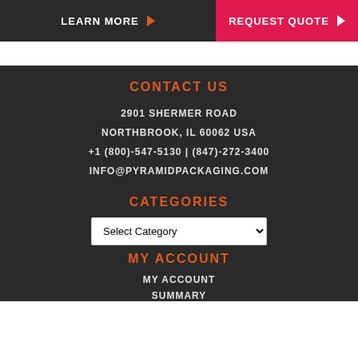LEARN MORE | REQUEST QUOTE
CONTACT US
2901 SHERMER ROAD
NORTHBROOK, IL 60062 USA
+1 (800)-547-5130 | (847)-272-3400
INFO@PYRAMIDPACKAGING.COM
CATEGORIES
Select Category
MY ACCOUNT
MY ACCOUNT
SUMMARY